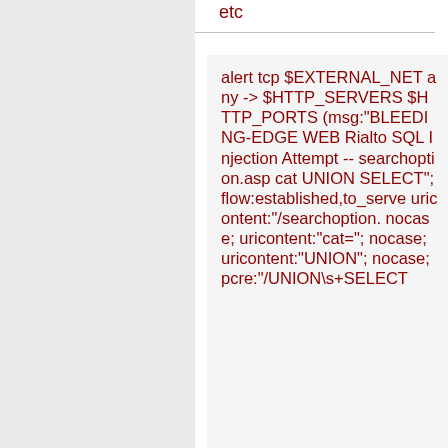etc
alert tcp $EXTERNAL_NET any -> $HTTP_SERVERS $HTTP_PORTS (msg:"BLEEDING-EDGE WEB Rialto SQL Injection Attempt -- searchoption.asp cat UNION SELECT"; flow:established,to_serve uricontent:"/searchoption. nocase; uricontent:"cat="; nocase; uricontent:"UNION"; nocase; pcre:"/UNION\s+SELECT